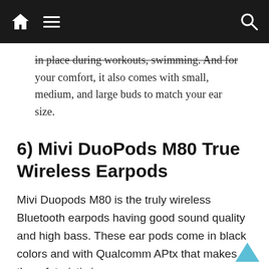Navigation bar with home icon, hamburger menu, and search icon
in place during workouts, swimming. And for your comfort, it also comes with small, medium, and large buds to match your ear size.
6) Mivi DuoPods M80 True Wireless Earpods
Mivi Duopods M80 is the truly wireless Bluetooth earpods having good sound quality and high bass. These ear pods come in black colors and with Qualcomm APtx that makes them futuristic in